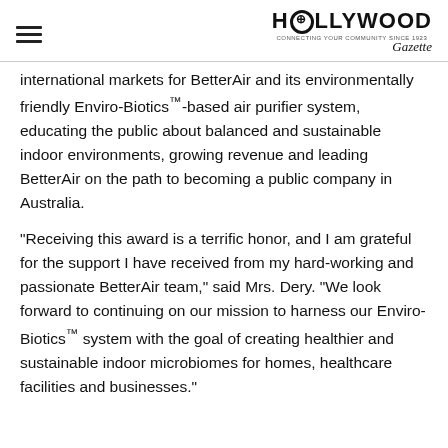HOLLYWOOD
international markets for BetterAir and its environmentally friendly Enviro-Biotics™-based air purifier system, educating the public about balanced and sustainable indoor environments, growing revenue and leading BetterAir on the path to becoming a public company in Australia.
“Receiving this award is a terrific honor, and I am grateful for the support I have received from my hard-working and passionate BetterAir team,” said Mrs. Dery. “We look forward to continuing on our mission to harness our Enviro-Biotics™ system with the goal of creating healthier and sustainable indoor microbiomes for homes, healthcare facilities and businesses.”